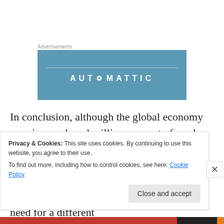Advertisements
[Figure (logo): Automattic advertisement banner — blue rectangle with horizontal line and 'AUTOMATTIC' text in white letters]
In conclusion, although the global economy remains weak and millions are out of work, organizations around the world continue struggling to find qualified talent. It's a big problem. Traditional methods of attracting talent are becoming less useful, and so the need for a different
Privacy & Cookies: This site uses cookies. By continuing to use this website, you agree to their use.
To find out more, including how to control cookies, see here: Cookie Policy